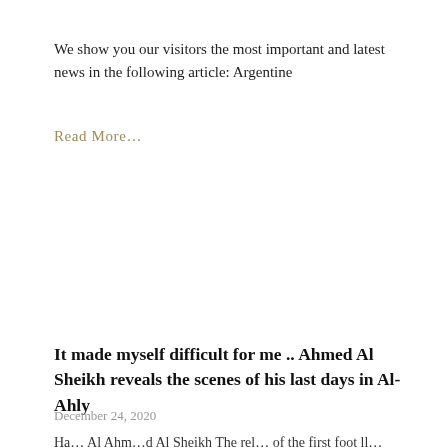We show you our visitors the most important and latest news in the following article: Argentine
Read More…
It made myself difficult for me .. Ahmed Al Sheikh reveals the scenes of his last days in Al-Ahly
December 24, 2020
Ha… Al Ahmad Al Sheikh The rel… of the first foot ll…